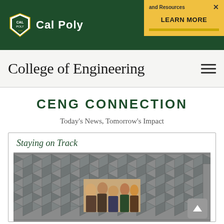[Figure (logo): Cal Poly shield logo with white text CAL POLY on dark green banner]
and Resources X
LEARN MORE
College of Engineering
CENG CONNECTION
Today's News, Tomorrow's Impact
Staying on Track
[Figure (photo): Acoustic foam room photo with a group of students visible in the center]